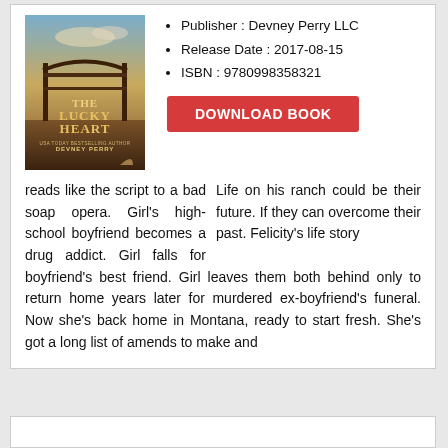[Figure (illustration): Book cover of 'The Lucky Heart' by Devney Perry, showing a rustic ranch gate scene with warm sunset tones, text reads 'THE LUCKY HEART' and 'USA TODAY BESTSELLING AUTHOR DEVNEY PERRY']
Publisher : Devney Perry LLC
Release Date : 2017-08-15
ISBN : 9780998358321
DOWNLOAD BOOK
Life on his ranch could be their future. If they can overcome their past. Felicity's life story reads like the script to a bad soap opera. Girl's high-school boyfriend becomes a drug addict. Girl falls for boyfriend's best friend. Girl leaves them both behind only to return home years later for murdered ex-boyfriend's funeral. Now she's back home in Montana, ready to start fresh. She's got a long list of amends to make and